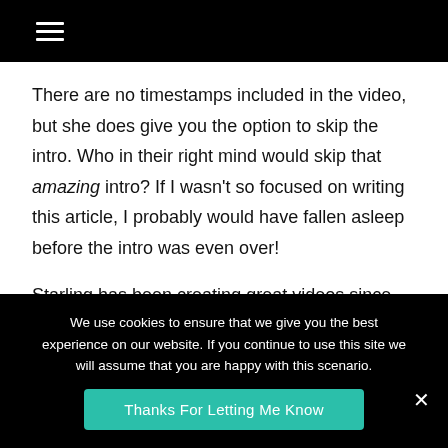☰ (hamburger menu icon)
There are no timestamps included in the video, but she does give you the option to skip the intro. Who in their right mind would skip that amazing intro? If I wasn't so focused on writing this article, I probably would have fallen asleep before the intro was even over!

Starling has been creating great videos since day one, and it is really paying off for her. In the last month she has seen an almost 10k follower increase. Currently she
We use cookies to ensure that we give you the best experience on our website. If you continue to use this site we will assume that you are happy with this scenario.
Thanks For Letting Me Know